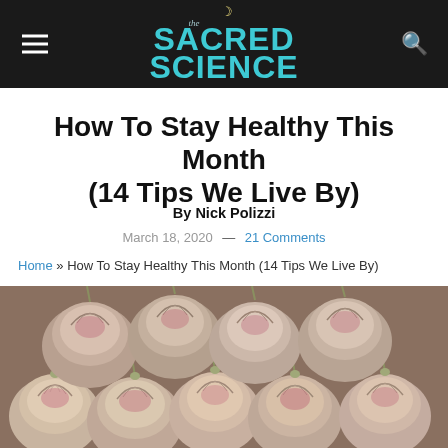The Sacred Science
How To Stay Healthy This Month (14 Tips We Live By)
By Nick Polizzi
March 18, 2020 — 21 Comments
Home » How To Stay Healthy This Month (14 Tips We Live By)
[Figure (photo): Close-up photo of many purple and white garlic bulbs piled together]